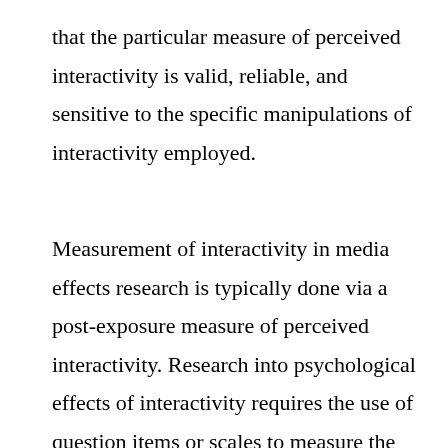that the particular measure of perceived interactivity is valid, reliable, and sensitive to the specific manipulations of interactivity employed.
Measurement of interactivity in media effects research is typically done via a post-exposure measure of perceived interactivity. Research into psychological effects of interactivity requires the use of question items or scales to measure the extent to which users perceive interactivity. The measure must be